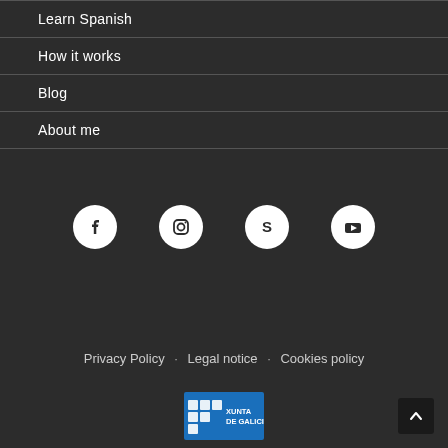Learn Spanish
How it works
Blog
About me
[Figure (infographic): Row of four social media icons: Facebook, Instagram, Skype, YouTube — white icons on white circular backgrounds on dark background]
Privacy Policy · Legal notice · Cookies policy
[Figure (logo): Xunta de Galicia logo — blue square with grid pattern and text XUNTA DE GALICIA]